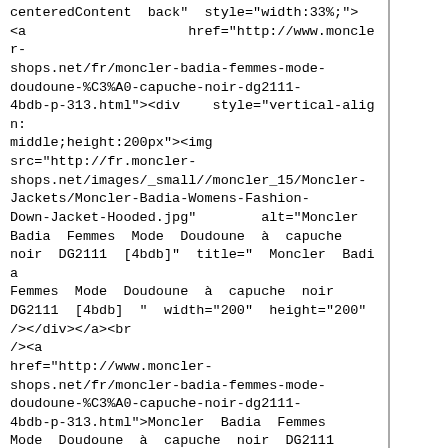centeredContent back" style="width:33%;"> <a                    href="http://www.moncler-shops.net/fr/moncler-badia-femmes-mode-doudoune-%C3%A0-capuche-noir-dg2111-4bdb-p-313.html"><div    style="vertical-align: middle;height:200px"><img src="http://fr.moncler-shops.net/images/_small//moncler_15/Moncler-Jackets/Moncler-Badia-Womens-Fashion-Down-Jacket-Hooded.jpg"        alt="Moncler Badia Femmes Mode Doudoune à capuche noir DG2111 [4bdb]" title=" Moncler Badia Femmes Mode Doudoune à capuche noir DG2111 [4bdb] " width="200" height="200" /></div></a><br                                   /><a href="http://www.moncler-shops.net/fr/moncler-badia-femmes-mode-doudoune-%C3%A0-capuche-noir-dg2111-4bdb-p-313.html">Moncler  Badia  Femmes Mode Doudoune à capuche noir DG2111 [4bdb]</a><br                           /><span class="normalprice">&euro;1,647.03 </span>&nbsp;<span class="productSpecialPrice">&euro;259.47</span> <span        class="productPriceDiscount"><br />Economie  :&nbsp;84%</span></div>  <br class="clearBoth"                                    /><div class="centerBoxContentsNew centeredContent  back"  style="width:33%;"> <a                    href="http://www.moncler-shops.net/fr/moncler-lievre-femme-